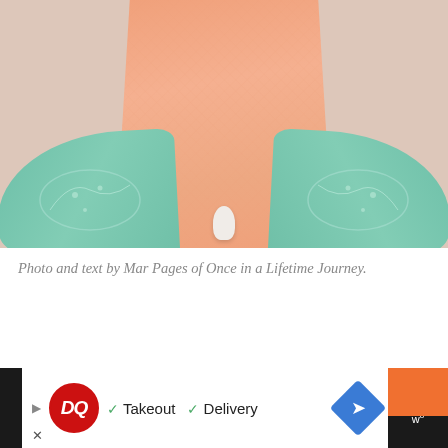[Figure (photo): A photograph showing the bottom portion of a person wearing a peach/salmon colored traditional Asian garment with teal/green embroidered sleeves spread out to the sides, with a small white tassel or ornament at the bottom center, against a light pinkish-beige background.]
Photo and text by Mar Pages of Once in a Lifetime Journey.